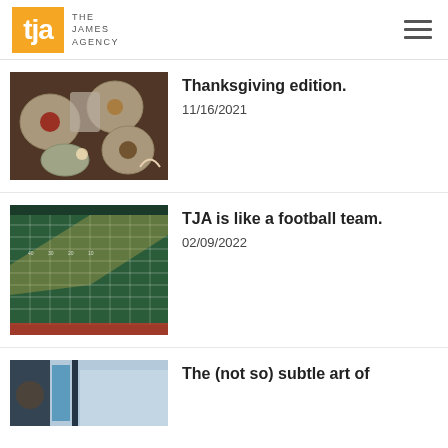tja THE JAMES AGENCY
[Figure (photo): Overhead view of Thanksgiving dinner table with plates of food, salads, glasses]
Thanksgiving edition.
11/16/2021
[Figure (photo): Aerial view of a football field with yard lines and green turf with light patterns]
TJA is like a football team.
02/09/2022
[Figure (photo): Person near a building entrance, partial view]
The (not so) subtle art of